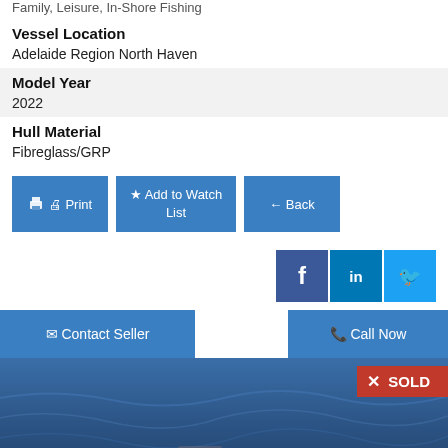Family, Leisure, In-Shore Fishing
Vessel Location
Adelaide Region North Haven
Model Year
2022
Hull Material
Fibreglass/GRP
Print | Add to Watch List | Back
[Figure (screenshot): Social media share buttons: Facebook, LinkedIn, Twitter]
Contact Seller | Call Now
[Figure (photo): Boat on open ocean water with SOLD badge overlay]